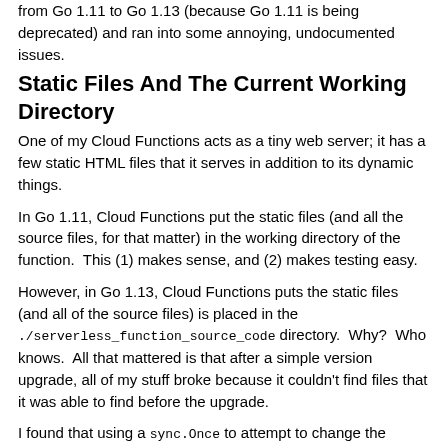from Go 1.11 to Go 1.13 (because Go 1.11 is being deprecated) and ran into some annoying, undocumented issues.
Static Files And The Current Working Directory
One of my Cloud Functions acts as a tiny web server; it has a few static HTML files that it serves in addition to its dynamic things.
In Go 1.11, Cloud Functions put the static files (and all the source files, for that matter) in the working directory of the function.  This (1) makes sense, and (2) makes testing easy.
However, in Go 1.13, Cloud Functions puts the static files (and all of the source files) is placed in the ./serverless_function_source_code directory.  Why?  Who knows.  All that mattered is that after a simple version upgrade, all of my stuff broke because it couldn't find files that it was able to find before the upgrade.
I found that using a sync.Once to attempt to change the current working directory (if necessary) is a fairly clean